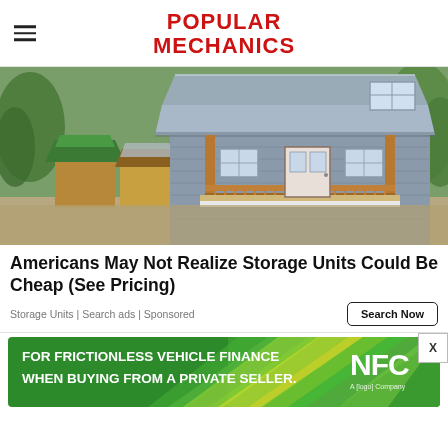POPULAR MECHANICS
[Figure (photo): Exterior photo of a small shed or tiny home with a gambrel metal roof, wooden porch with railings, gray siding, and windows, surrounded by trees. In the background are other smaller sheds with green and brown roofs.]
Americans May Not Realize Storage Units Could Be Cheap (See Pricing)
Storage Units | Search ads | Sponsored
[Figure (screenshot): Search Now button — a bordered button with text 'Search Now']
[Figure (photo): Advertisement banner with green and yellow chevron/diamond pattern background. Text reads: FOR FRICTIONLESS VEHICLE FINANCE WHEN BUYING FROM A PRIVATE SELLER. NFC logo on the right side.]